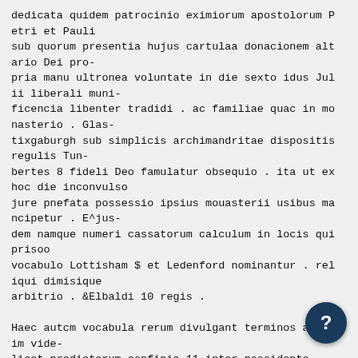dedicata quidem patrocinio eximiorum apostolorum Petri et Pauli
sub quorum presentia hujus cartulaa donacionem altario Dei pro-
pria manu ultronea voluntate in die sexto idus Julii liberali muni-
ficencia libenter tradidi . ac familiae quac in monasterio . Glas-
tixgaburgh sub simplicis archimandritae dispositis regulis Tun-
bertes 8 fideli Deo famulatur obsequio . ita ut ex hoc die inconvulso
jure pnefata possessio ipsius mouasterii usibus mancipetur . E^jus-
dem namque numeri cassatorum calculum in locis qui prisoo
vocabulo Lottisham $ et Ledenford nominantur . reliqui dimisique
arbitrio . &Elbaldi 10 regis .

Haec autcm vocabula rerum divulgant terminos agron im vide-
licet predictorum confinia 11 inter possidente opriae sortis emenso